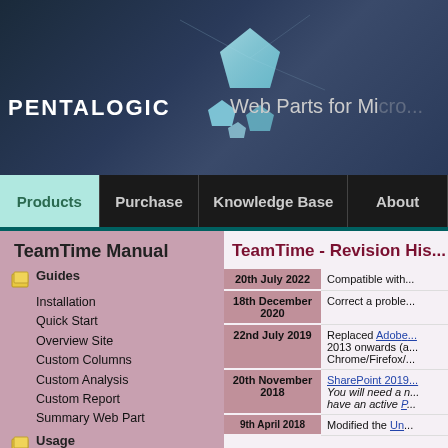[Figure (logo): Pentalogic logo with pentagon gem shapes and text 'PENTALOGIC' and 'Web Parts for Mi...' on dark blue gradient background]
Products | Purchase | Knowledge Base | About
TeamTime Manual
Guides
Installation
Quick Start
Overview Site
Custom Columns
Custom Analysis
Custom Report
Summary Web Part
Usage
User
Manager
TeamTime - Revision His...
| Date | Description |
| --- | --- |
| 20th July 2022 | Compatible with... |
| 18th December 2020 | Correct a proble... |
| 22nd July 2019 | Replaced Adobe... 2013 onwards (a... Chrome/Firefox/... |
| 20th November 2018 | SharePoint 2019...
You will need a n... have an active P... |
| 9th April 2018 | Modified the Un... |